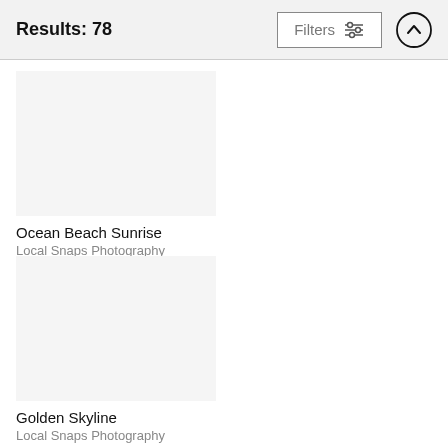Results: 78
Filters
Ocean Beach Sunrise
Local Snaps Photography
$37
Golden Skyline
Local Snaps Photography
$37